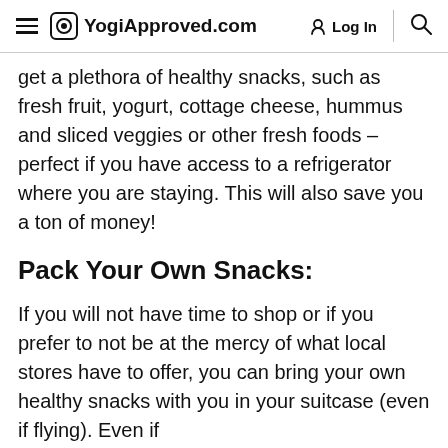YogiApproved.com  Log In
get a plethora of healthy snacks, such as fresh fruit, yogurt, cottage cheese, hummus and sliced veggies or other fresh foods – perfect if you have access to a refrigerator where you are staying. This will also save you a ton of money!
Pack Your Own Snacks:
If you will not have time to shop or if you prefer to not be at the mercy of what local stores have to offer, you can bring your own healthy snacks with you in your suitcase (even if flying). Even if